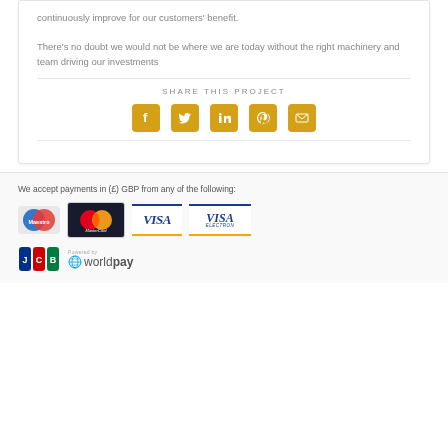continuously improve for our customers' benefit.

There's no doubt we would not be where we are today without the right machinery and team driving our investments
SHARE THIS PROJECT
[Figure (infographic): Five social media sharing icons (Facebook, Twitter, LinkedIn, Pinterest, Email) displayed as golden/amber rounded square buttons]
We accept payments in (£) GBP from any of the following:
[Figure (infographic): Payment method logos: Maestro, MasterCard, Visa, Visa Electron, JCB, Worldpay]